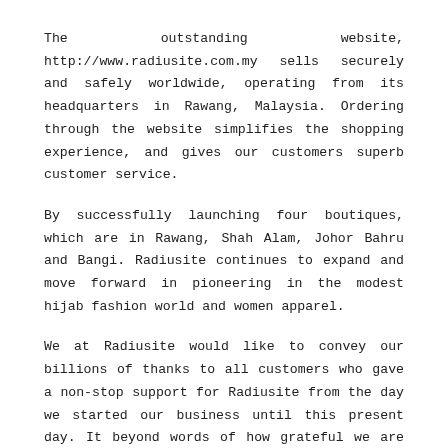The outstanding website, http://www.radiusite.com.my sells securely and safely worldwide, operating from its headquarters in Rawang, Malaysia. Ordering through the website simplifies the shopping experience, and gives our customers superb customer service.
By successfully launching four boutiques, which are in Rawang, Shah Alam, Johor Bahru and Bangi. Radiusite continues to expand and move forward in pioneering in the modest hijab fashion world and women apparel.
We at Radiusite would like to convey our billions of thanks to all customers who gave a non-stop support for Radiusite from the day we started our business until this present day. It beyond words of how grateful we are to still stand strong in this industry and without all of you, we would not be what we are today. Once again, Thank you!
Online Boutique Operation Hours: